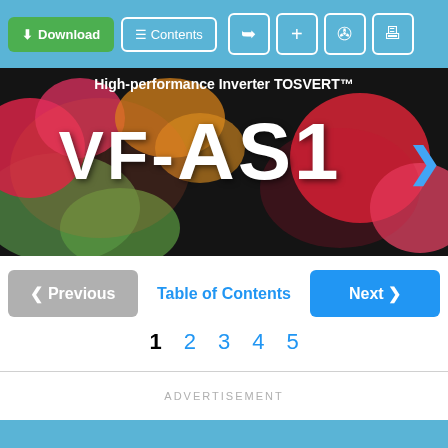Download | Contents | (share) | (+) | (bookmark) | (print)
[Figure (photo): Cover banner for High-performance Inverter TOSVERT VF-AS1 product manual, showing colorful blurred blobs on dark background with large white text 'VF-AS1']
< Previous   Table of Contents   Next >
1   2   3   4   5
ADVERTISEMENT